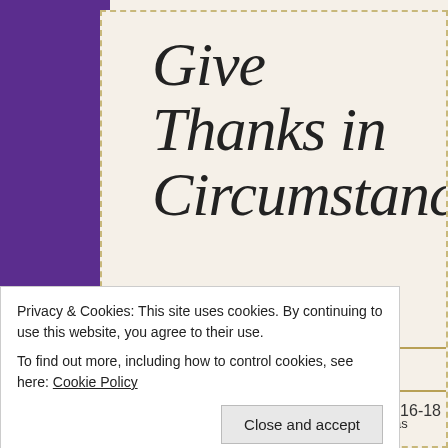Give Thanks in Circumstances?
Posted on April 1, 2022
1 Thessalonians 5:16-18
Privacy & Cookies: This site uses cookies. By continuing to use this website, you agree to their use. To find out more, including how to control cookies, see here: Cookie Policy
Close and accept
insisted I have an MRI to make sure nothing else was happening